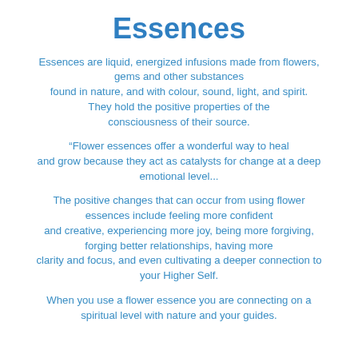Essences
Essences are liquid, energized infusions made from flowers, gems and other substances found in nature, and with colour, sound, light, and spirit. They hold the positive properties of the consciousness of their source.
“Flower essences offer a wonderful way to heal and grow because they act as catalysts for change at a deep emotional level...
The positive changes that can occur from using flower essences include feeling more confident and creative, experiencing more joy, being more forgiving, forging better relationships, having more clarity and focus, and even cultivating a deeper connection to your Higher Self.
When you use a flower essence you are connecting on a spiritual level with nature and your guides.